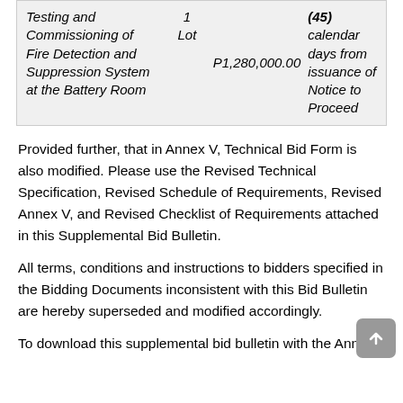| Testing and Commissioning of Fire Detection and Suppression System at the Battery Room | 1 Lot | P1,280,000.00 | (45) calendar days from issuance of Notice to Proceed |
Provided further, that in Annex V, Technical Bid Form is also modified. Please use the Revised Technical Specification, Revised Schedule of Requirements, Revised Annex V, and Revised Checklist of Requirements attached in this Supplemental Bid Bulletin.
All terms, conditions and instructions to bidders specified in the Bidding Documents inconsistent with this Bid Bulletin are hereby superseded and modified accordingly.
To download this supplemental bid bulletin with the Annex